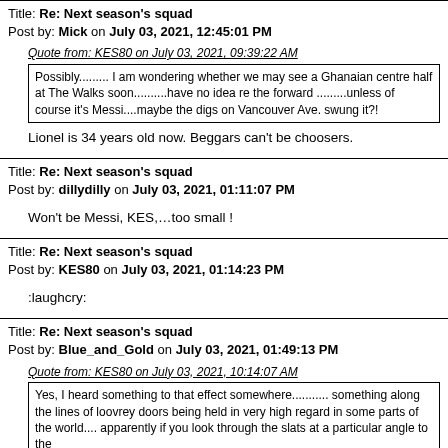Title: Re: Next season's squad
Post by: Mick on July 03, 2021, 12:45:01 PM
Quote from: KES80 on July 03, 2021, 09:39:22 AM
Possibly......... I am wondering whether we may see a Ghanaian centre half at The Walks soon..........have no idea re the forward .........unless of course it's Messi....maybe the digs on Vancouver Ave. swung it?!
Lionel is 34 years old now. Beggars can't be choosers.
Title: Re: Next season's squad
Post by: dillydilly on July 03, 2021, 01:11:07 PM
Won't be Messi, KES,…too small !
Title: Re: Next season's squad
Post by: KES80 on July 03, 2021, 01:14:23 PM
:laughcry:
Title: Re: Next season's squad
Post by: Blue_and_Gold on July 03, 2021, 01:49:13 PM
Quote from: KES80 on July 03, 2021, 10:14:07 AM
Yes, I heard something to that effect somewhere........... something along the lines of loovrey doors being held in very high regard in some parts of the world.... apparently if you look through the slats at a particular angle to the